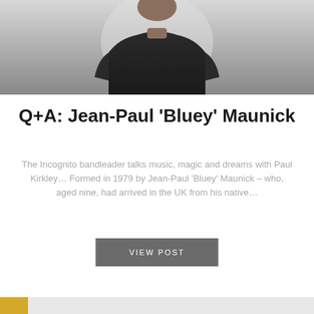[Figure (photo): Photo of Jean-Paul 'Bluey' Maunick, a person in a dark/black short-sleeve shirt, upper body visible, cropped at the top of the page]
Q+A: Jean-Paul ‘Bluey’ Maunick
The Incognito bandleader talks music, magic and dreams with Paul Kirkley… Formed in 1979 by Jean-Paul ‘Bluey’ Maunick – who, aged nine, had arrived in the UK from his native…
VIEW POST
[Figure (photo): Partially visible images at the bottom of the page, cut off]